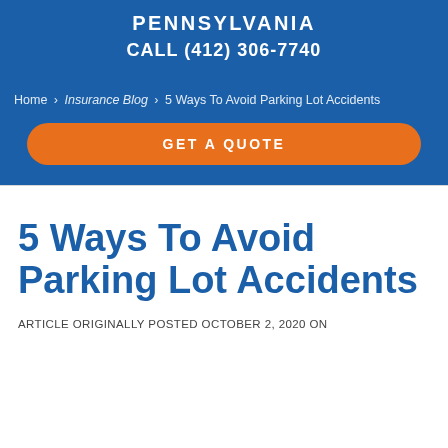PENNSYLVANIA
CALL (412) 306-7740
[Figure (other): Orange rounded 'GET A QUOTE' button overlaid on navigation bar]
Home > Insurance Blog > 5 Ways To Avoid Parking Lot Accidents
5 Ways To Avoid Parking Lot Accidents
ARTICLE ORIGINALLY POSTED OCTOBER 2, 2020 ON